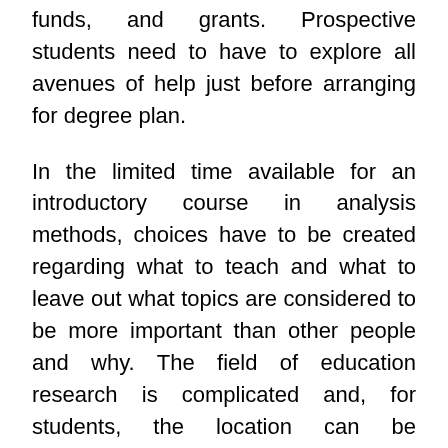funds, and grants. Prospective students need to have to explore all avenues of help just before arranging for degree plan.
In the limited time available for an introductory course in analysis methods, choices have to be created regarding what to teach and what to leave out what topics are considered to be more important than other people and why. The field of education research is complicated and, for students, the location can be overwhelming. In the expertise of the authors, who have taught research strategies at both below-graduate and post-graduate level more than several years, students resist the describing of research